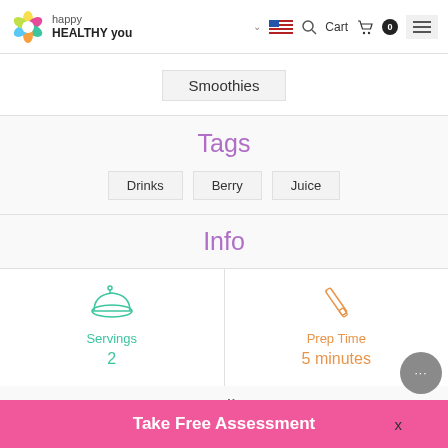happy HEALTHY you — Cart 0
Smoothies
Tags
Drinks
Berry
Juice
Info
Servings
2
Prep Time
5 minutes
Ingredients